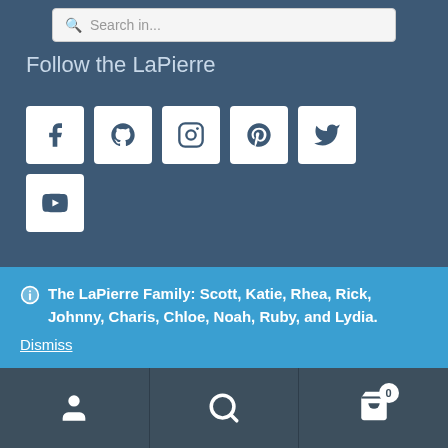Follow the LaPierre
[Figure (illustration): Social media icon buttons: Facebook, GitHub, Instagram, Pinterest, Twitter, YouTube — white square rounded buttons on dark blue background]
The LaPierre Family: Scott, Katie, Rhea, Rick, Johnny, Charis, Chloe, Noah, Ruby, and Lydia.
Dismiss
[Figure (illustration): Bottom navigation bar with person icon, search icon, and shopping cart icon with badge showing 0]